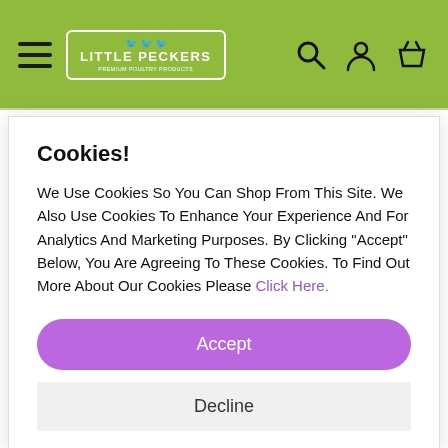Little Peckers — navigation header with hamburger menu, logo, search, account, and basket icons
3 steps to prepare the feed
1. Weigh the feed
Cookies!
We Use Cookies So You Can Shop From This Site. We Also Use Cookies To Enhance Your Experience And For Analytics And Marketing Purposes. By Clicking "Accept" Below, You Are Agreeing To These Cookies. To Find Out More About Our Cookies Please Click Here.
Accept
Decline